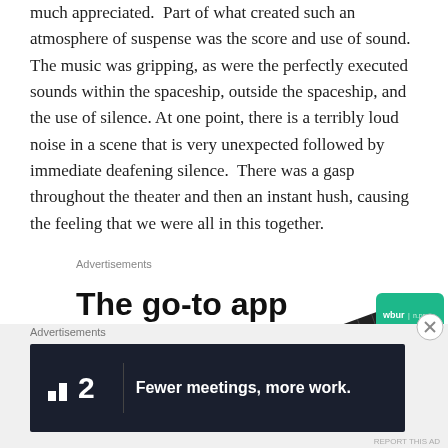much appreciated.  Part of what created such an atmosphere of suspense was the score and use of sound.  The music was gripping, as were the perfectly executed sounds within the spaceship, outside the spaceship, and the use of silence. At one point, there is a terribly loud noise in a scene that is very unexpected followed by immediate deafening silence.  There was a gasp throughout the theater and then an instant hush, causing the feeling that we were all in this together.
Advertisements
[Figure (infographic): Advertisement for a podcast app showing bold text 'The go-to app for podcast lovers.' with a phone/app graphic on the right showing WBUR and NPR branding]
Advertisements
[Figure (infographic): Dark banner advertisement for Fewer meetings service/app showing logo with bar chart icon and number 2, with slogan 'Fewer meetings, more work.']